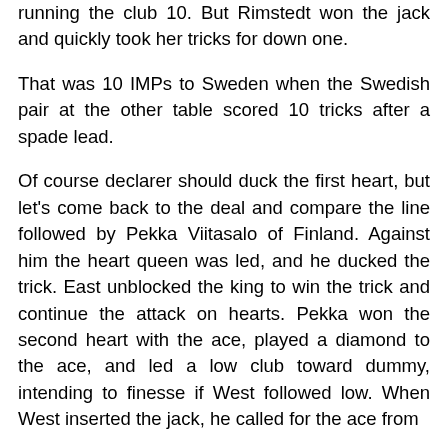running the club 10. But Rimstedt won the jack and quickly took her tricks for down one.
That was 10 IMPs to Sweden when the Swedish pair at the other table scored 10 tricks after a spade lead.
Of course declarer should duck the first heart, but let's come back to the deal and compare the line followed by Pekka Viitasalo of Finland. Against him the heart queen was led, and he ducked the trick. East unblocked the king to win the trick and continue the attack on hearts. Pekka won the second heart with the ace, played a diamond to the ace, and led a low club toward dummy, intending to finesse if West followed low. When West inserted the jack, he called for the ace from